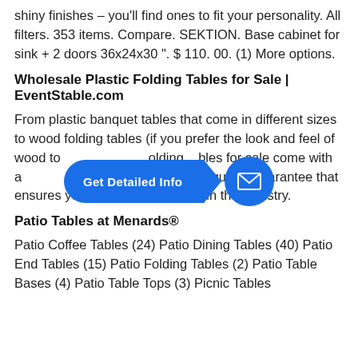shiny finishes – you'll find ones to fit your personality. All filters. 353 items. Compare. SEKTION. Base cabinet for sink + 2 doors 36x24x30 ". $ 110. 00. (1) More options.
Wholesale Plastic Folding Tables for Sale | EventStable.com
From plastic banquet tables that come in different sizes to wood folding tables (if you prefer the look and feel of wood to [Get Detailed Info button] folding tables for sale come with a [commercial] grade, high-quality guarantee that ensures you are getting the best in the industry.
[Figure (other): Blue pill-shaped 'Get Detailed Info' button with arrow and circular email icon on the right]
Patio Tables at Menards®
Patio Coffee Tables (24) Patio Dining Tables (40) Patio End Tables (15) Patio Folding Tables (2) Patio Table Bases (4) Patio Table Tops (3) Picnic Tables (7) ...